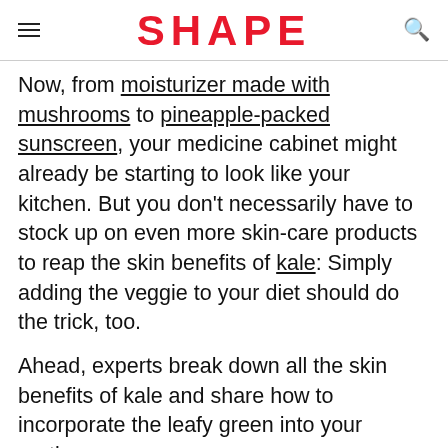SHAPE
Now, from moisturizer made with mushrooms to pineapple-packed sunscreen, your medicine cabinet might already be starting to look like your kitchen. But you don't necessarily have to stock up on even more skin-care products to reap the skin benefits of kale: Simply adding the veggie to your diet should do the trick, too.
Ahead, experts break down all the skin benefits of kale and share how to incorporate the leafy green into your routine.
Is Kale Good for Your Skin?